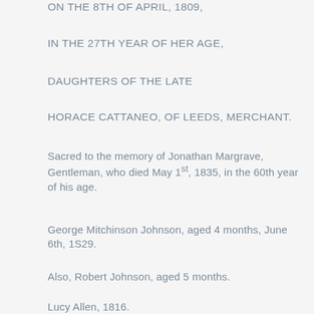ON THE 8th OF APRIL, 1809,
IN THE 27th YEAR OF HER AGE,
DAUGHTERS OF THE LATE
HORACE CATTANEO, OF LEEDS, MERCHANT.
Sacred to the memory of Jonathan Margrave, Gentleman, who died May 1st, 1835, in the 60th year of his age.
George Mitchinson Johnson, aged 4 months, June 6th, 1S29.
Also, Robert Johnson, aged 5 months.
Lucy Allen, 1816.